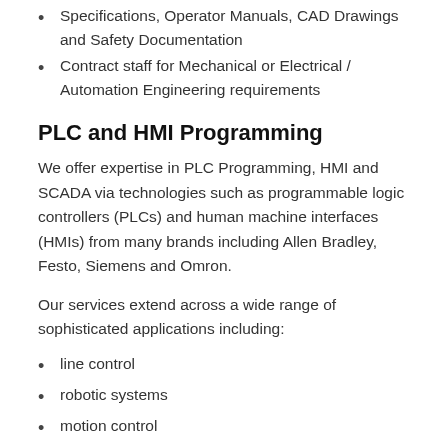Specifications, Operator Manuals, CAD Drawings and Safety Documentation
Contract staff for Mechanical or Electrical / Automation Engineering requirements
PLC and HMI Programming
We offer expertise in PLC Programming, HMI and SCADA via technologies such as programmable logic controllers (PLCs) and human machine interfaces (HMIs) from many brands including Allen Bradley, Festo, Siemens and Omron.
Our services extend across a wide range of sophisticated applications including:
line control
robotic systems
motion control
machine vision
MES (Machine Execution Systems)